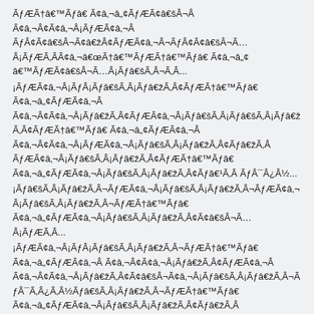ÃƒÆÃ†â€™Ãƒâ€ Ã¢â‚¬â„¢ÃƒÆÃ¢â‚¬Â ÃƒÂ¢Ã¢â€šÂ¬Ã¢â€žÂ¢ÃƒÆÃ¢â‚¬Â ÃƒÂ¢Ã¢â€šÂ¬Ã¢â€žÂ¢ÃƒÂ¢Ã¢â€šÂ¬Ã…Â¡ÃƒÆÃ‚Â…
¡ÃƒÆÃ¢â‚¬Â¡ÃƒÂ¡Ãƒâ€šÃ‚Â¡Ãƒâ€žÃ‚Â¢ÃƒÆÃ†â€™Ãƒâ€ Ã¢â‚¬â„¢ÃƒÆÃ¢â‚¬Â Ã¢â‚¬Â¢Ã¢â‚¬Å¡Ãƒâ€žÃ‚Â¢ÃƒÆÃ¢â‚¬Â¡Ãƒâ€šÃ‚Â¡Ãƒâ€žÃ‚Â¢Ãƒâ€¹Ã‚Â ÃƒÂ¯Â¿Â½
¡Ãƒâ€šÃ‚Â¡Ãƒâ€žÃ‚Â¬ÃƒÆÃ¢â‚¬Â¡Ãƒâ€šÃ‚Â¡Ãƒâ€žÃ‚Â¬ÃƒÆÃ¢â‚¬Â¡Ãƒâ€šÃ‚Â¡Ãƒâ€žÃ‚Â¬...
¡ÃƒÆÃ¢â‚¬Â¡ÃƒÂ¡Ãƒâ€šÃ‚Â¡Ãƒâ€žÃ‚Â¬ÃƒÆÃ†â€™Ãƒâ€ Ã¢â‚¬â„¢ÃƒÆÃ¢â‚¬Â ...
¡Ãƒâ€šÃ‚Â¡Ãƒâ€žÃ‚Â¬ÃƒÆÃ¢â‚¬Â¡Ãƒâ€šÃ‚Â¡Ãƒâ€žÃ‚Â¬â€œoverwhelming victory.ÃƒÆÃ†â€™Ãƒâ€ Ã¢â‚¬â„¢ÃƒÆÃ¢â‚¬Â Ã¢â‚¬Â¢Ã¢â‚¬Å¡ÃƒÆÃ¢â‚¬Â¡Ãƒâ€šÃ‚Â¡Ãƒâ€žÃ‚Â¬...
¡ÃƒÆÃ¢â‚¬Â¡ÃƒÂ¡Ãƒâ€šÃ‚Â¡Ãƒâ€žÃ‚Â¢ÃƒÆÃ†â€™Ãƒâ€ Ã¢â‚¬â„¢ÃƒÆÃ¢â‚¬Â ...
¡Ãƒâ€šÃ‚Â¡Ãƒâ€žÃ‚Â¬ÃƒÆÃ¢â‚¬Â¡Ãƒâ€šÃ‚Â¡Ãƒâ€žÃ‚Â¬...
¡ÃƒÆÃ¢â‚¬Â¡ÃƒÂ¡Ãƒâ€šÃ‚Â¡Ãƒâ€žÃ‚Â¬ÃƒÆÃ†â€™Ãƒâ€ Ã¢â‚¬â„¢ÃƒÆÃ¢â‚¬Â ...
¡ÃƒÆÃ¢â‚¬Â¡ÃƒÂ¡Ãƒâ€šÃ‚Â¡Ãƒâ€žÃ‚Â¢
The world is watching: the UN released a statement in the lead up to the vote, saying it
ÃƒÆÃ†â€™Ãƒâ€ Ã¢â‚¬â„¢ÃƒÆÃ¢â‚¬Â Ã¢â‚¬Â¢Ã¢â‚¬Å¡ÃƒÆÃ¢â‚¬Â ÃƒÂ¢Ã¢â€šÂ¬Ã¢â€žÂ¢ÃƒÂ¢Ã¢â€šÂ¬Ã…Â¾ÃƒÆÃ‚Â…